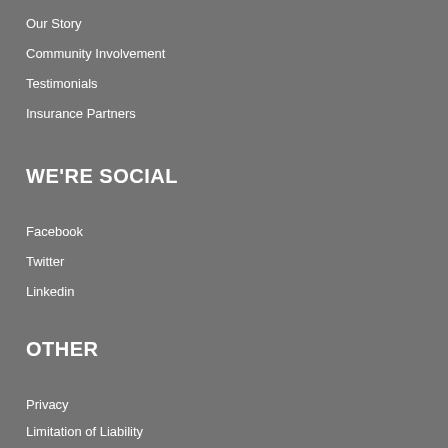Our Story
Community Involvement
Testimonials
Insurance Partners
WE'RE SOCIAL
Facebook
Twitter
Linkedin
OTHER
Privacy
Limitation of Liability